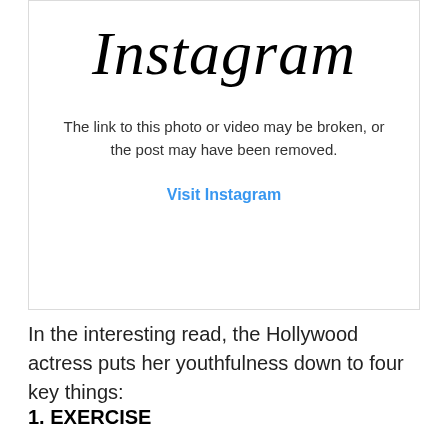[Figure (screenshot): Instagram embedded post placeholder showing broken link message with 'Visit Instagram' link]
In the interesting read, the Hollywood actress puts her youthfulness down to four key things:
1. EXERCISE